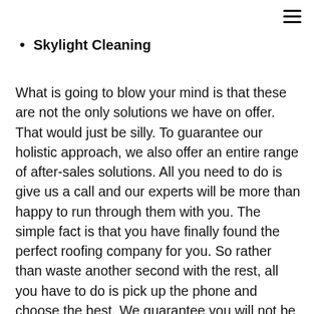Skylight Cleaning
What is going to blow your mind is that these are not the only solutions we have on offer. That would just be silly. To guarantee our holistic approach, we also offer an entire range of after-sales solutions. All you need to do is give us a call and our experts will be more than happy to run through them with you. The simple fact is that you have finally found the perfect roofing company for you. So rather than waste another second with the rest, all you have to do is pick up the phone and choose the best. We guarantee you will not be disappointed. Our experts are ready and waiting to show you what you have been missing out